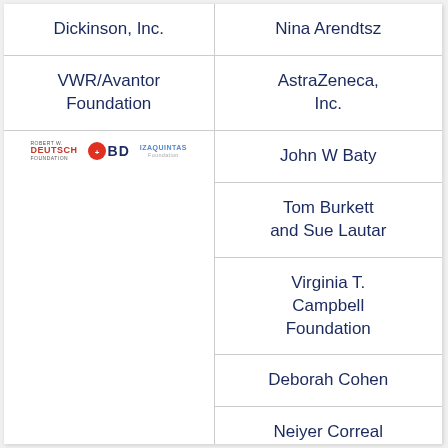Dickinson, Inc.
VWR/Avantor Foundation
[Figure (logo): Three logos side by side: Robert W. Deutsch Foundation (text logo), BD (Becton Dickinson, red circle with BD), and a third smaller logo]
Nina Arendtsz
AstraZeneca, Inc.
John W Baty
Tom Burkett and Sue Lautar
Virginia T. Campbell Foundation
Deborah Cohen
Neiyer Correal